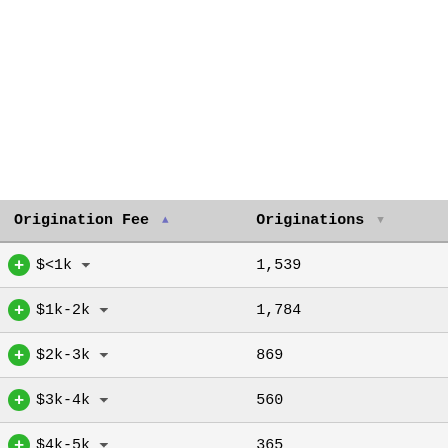| Origination Fee | Originations |
| --- | --- |
| $<1k | 1,539 |
| $1k-2k | 1,784 |
| $2k-3k | 869 |
| $3k-4k | 560 |
| $4k-5k | 365 |
| $5k+ | 1,163 |